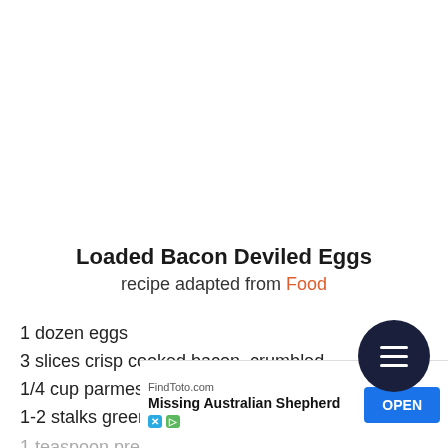Loaded Bacon Deviled Eggs
recipe adapted from Food
1 dozen eggs
3 slices crisp cooked bacon, crumbled
1/4 cup parmesan cheese
1-2 stalks green onion, thinly sliced on bias
1 teaspoon prepared yellow mustard
2-3 tablespoons (partially visible)
salt and (partially visible)